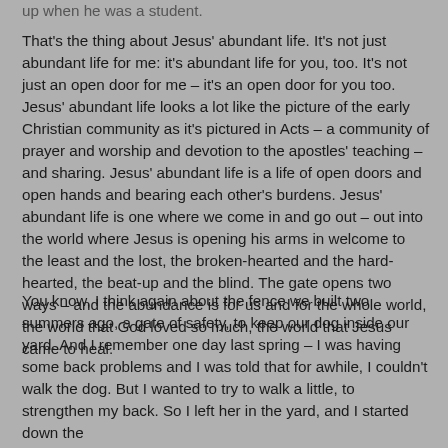up when he was a student.
That's the thing about Jesus' abundant life. It's not just abundant life for me: it's abundant life for you, too. It's not just an open door for me – it's an open door for you too. Jesus' abundant life looks a lot like the picture of the early Christian community as it's pictured in Acts – a community of prayer and worship and devotion to the apostles' teaching – and sharing. Jesus' abundant life is a life of open doors and open hands and bearing each other's burdens. Jesus' abundant life is one where we come in and go out – out into the world where Jesus is opening his arms in welcome to the least and the lost, the broken-hearted and the hard-hearted, the beat-up and the blind. The gate opens two ways – and the abundance is for us and for the whole world, the world that God loved so much, the world that Jesus came to heal.
You know, I think again about the fence we built two summers ago, a gate of safety, to keep our dog inside our yard. And I remember one day last spring – I was having some back problems and I was told that for awhile, I couldn't walk the dog. But I wanted to try to walk a little, to strengthen my back. So I left her in the yard, and I started down the